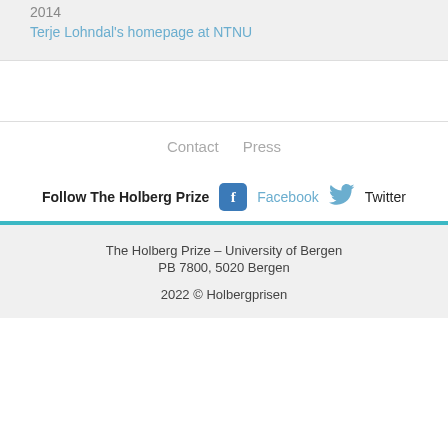2014
Terje Lohndal's homepage at NTNU
Contact  Press
Follow The Holberg Prize  Facebook  Twitter
The Holberg Prize – University of Bergen
PB 7800, 5020 Bergen
2022 © Holbergprisen